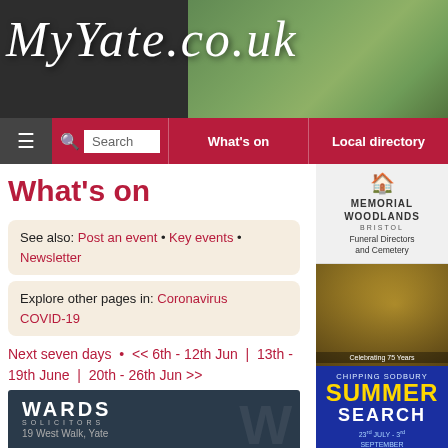MyYate.co.uk
[Figure (screenshot): Navigation bar with hamburger menu, search box, What's on, and Local directory links on dark red background]
What's on
See also: Post an event • Key events • Newsletter
Explore other pages in: Coronavirus COVID-19
Next seven days  •  << 6th - 12th Jun  |  13th - 19th June  |  20th - 26th Jun >>
[Figure (screenshot): Wards Solicitors advertisement showing 19 West Walk, Yate]
[Figure (photo): Memorial Woodlands Bristol funeral directors and cemetery advertisement]
[Figure (photo): School photo celebrating 75 years]
[Figure (photo): Chipping Sodbury Summer Search advertisement 23rd July - 3rd September]